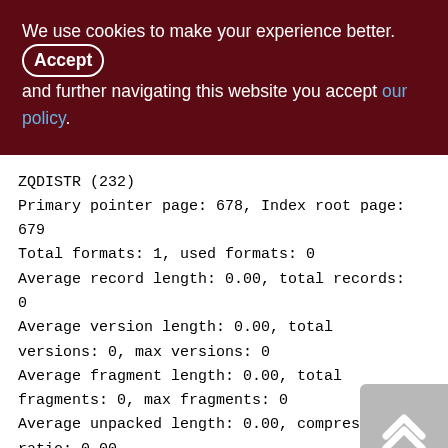We use cookies to make your experience better. By Accepting and further navigating this website you accept our policy.
ZQDISTR (232)
Primary pointer page: 678, Index root page: 679
Total formats: 1, used formats: 0
Average record length: 0.00, total records: 0
Average version length: 0.00, total versions: 0, max versions: 0
Average fragment length: 0.00, total fragments: 0, max fragments: 0
Average unpacked length: 0.00, compression ratio: 0.00